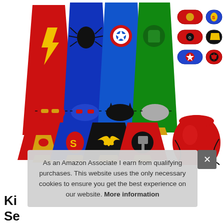[Figure (photo): Product photo of superhero costume set for kids including 8 capes (Flash, Spider-Man, Captain America, Hulk, Iron Man, Superman, Batman, Thor), matching masks, slap bracelets with superhero logos (Iron Man, Superman, Captain America, Spider-Man, Batman, Thor), and a red drawstring bag.]
As an Amazon Associate I earn from qualifying purchases. This website uses the only necessary cookies to ensure you get the best experience on our website. More information
Ki Se